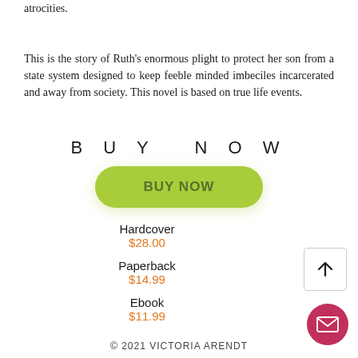atrocities.

This is the story of Ruth's enormous plight to protect her son from a state system designed to keep feeble minded imbeciles incarcerated and away from society. This novel is based on true life events.
BUY NOW
[Figure (other): Green rounded button with text BUY NOW]
Hardcover
$28.00
Paperback
$14.99
[Figure (other): Square button with upward arrow icon]
Ebook
$11.99
[Figure (other): Pink circular button with envelope/mail icon]
© 2021 VICTORIA ARENDT